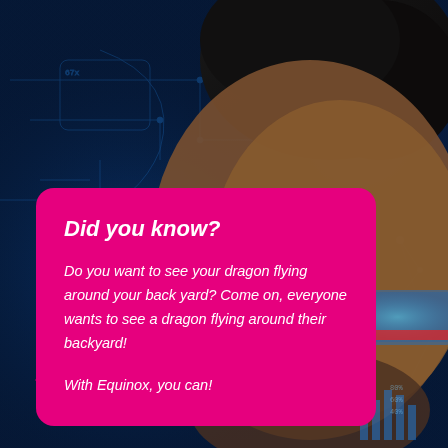[Figure (photo): Dark blue digital technology background with a man wearing AR/VR glasses, showing circuit diagrams, data charts, and glowing network connections overlaid on the image.]
Did you know?
Do you want to see your dragon flying around your back yard? Come on, everyone wants to see a dragon flying around their backyard!
With Equinox, you can!